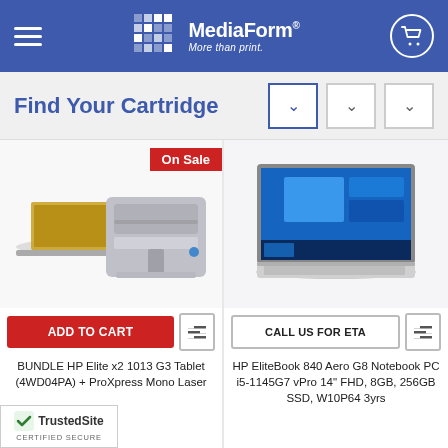MediaForm — More than print.
Find Your Cartridge
[Figure (photo): HP Elite x2 1013 G3 Tablet and Samsung ProXpress Mono Laser printer bundle product image with On Sale badge]
[Figure (photo): HP EliteBook 840 Aero G8 Notebook PC product image]
ADD TO CART
CALL US FOR ETA
BUNDLE HP Elite x2 1013 G3 Tablet (4WD04PA) + ProXpress Mono Laser
HP EliteBook 840 Aero G8 Notebook PC i5-1145G7 vPro 14" FHD, 8GB, 256GB SSD, W10P64 3yrs
[Figure (logo): TrustedSite CERTIFIED SECURE badge]